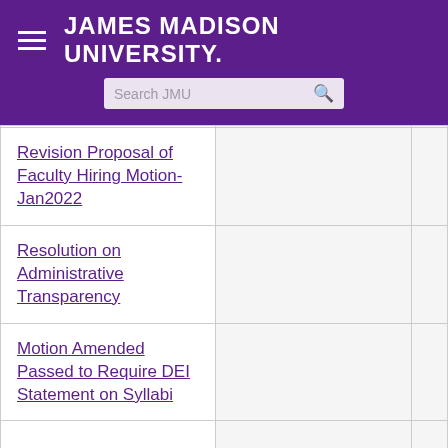JAMES MADISON UNIVERSITY.
| Motion/Resolution |  |  |
| --- | --- | --- |
| Revision Proposal of Faculty Hiring Motion-Jan2022 |  |  |
| Resolution on Administrative Transparency |  |  |
| Motion Amended Passed to Require DEI Statement on Syllabi |  |  |
| Motion of Support for Ukraine |  |  |
| Final Amended Motion |  |  |